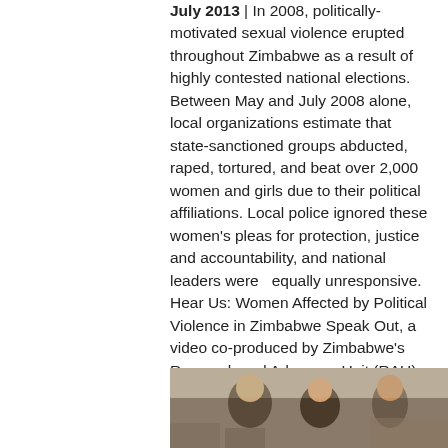July 2013 | In 2008, politically-motivated sexual violence erupted throughout Zimbabwe as a result of highly contested national elections. Between May and July 2008 alone, local organizations estimate that state-sanctioned groups abducted, raped, tortured, and beat over 2,000 women and girls due to their political affiliations. Local police ignored these women's pleas for protection, justice and accountability, and national leaders were  equally unresponsive. Hear Us: Women Affected by Political Violence in Zimbabwe Speak Out, a video co-produced by Zimbabwe's Research and Advocacy Unit (RAU) and WITNESS, featured four of these women who have came forward to demand justice from the Zimbabwean government and a regional body, the Southern African Development Community (SADC).
[Figure (photo): Partial photo at bottom of page showing people outdoors, cropped at the bottom edge]